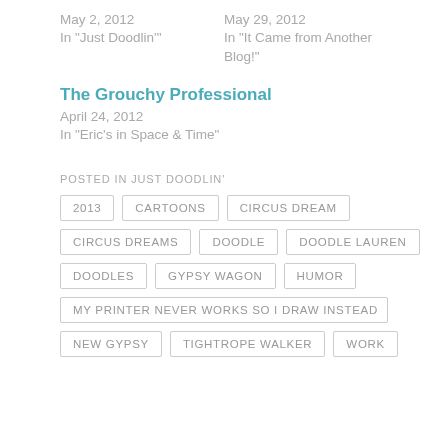May 2, 2012
In "Just Doodlin'"
May 29, 2012
In "It Came from Another Blog!"
The Grouchy Professional
April 24, 2012
In "Eric's in Space & Time"
POSTED IN JUST DOODLIN'
2013
CARTOONS
CIRCUS DREAM
CIRCUS DREAMS
DOODLE
DOODLE LAUREN
DOODLES
GYPSY WAGON
HUMOR
MY PRINTER NEVER WORKS SO I DRAW INSTEAD
NEW GYPSY
TIGHTROPE WALKER
WORK